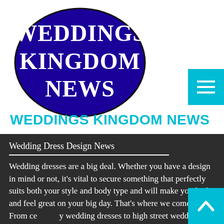[Figure (logo): Weddings Kingdom News oval logo with dark blue background and white serif text reading WEDDINGS KINGDOM NEWS]
WEDDINGS KINGDOM NEWS
Wedding Dress Design News
Wedding dresses are a big deal. Whether you have a design in mind or not, it's vital to secure something that perfectly suits both your style and body type and will make you look and feel great on your big day. That's where we come in. From celebrity wedding dresses to high street wedding dresses and traditional styles to alternative looks, this is where you will